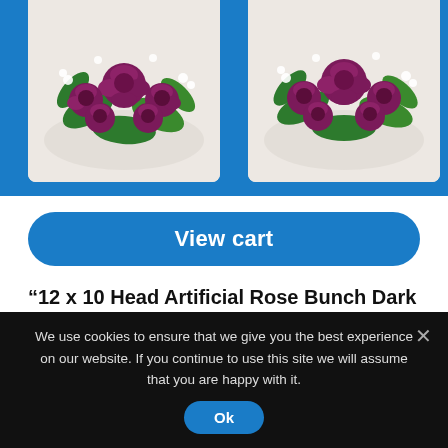[Figure (photo): Two product images of artificial rose bunches with dark purple/burgundy roses and white small flowers on green foliage, shown side by side at the top of the page on a blue background.]
View cart
“12 x 10 Head Artificial Rose Bunch Dark Blue (Bulk Buy)” has been added to your cart.
(excluding VAT)
Add to cart
Add to cart
We use cookies to ensure that we give you the best experience on our website. If you continue to use this site we will assume that you are happy with it.
Ok